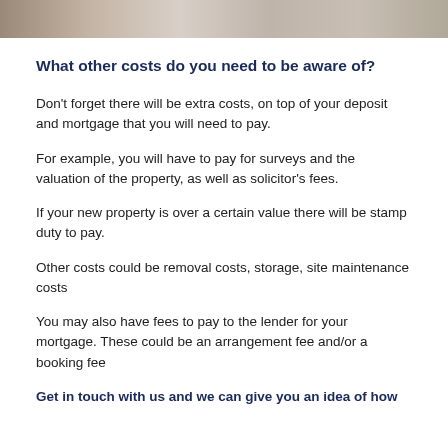[Figure (photo): Partial photo strip at top of page showing hands or coins, cropped]
What other costs do you need to be aware of?
Don't forget there will be extra costs, on top of your deposit and mortgage that you will need to pay.
For example, you will have to pay for surveys and the valuation of the property, as well as solicitor's fees.
If your new property is over a certain value there will be stamp duty to pay.
Other costs could be removal costs, storage, site maintenance costs
You may also have fees to pay to the lender for your mortgage. These could be an arrangement fee and/or a booking fee
Get in touch with us and we can give you an idea of how